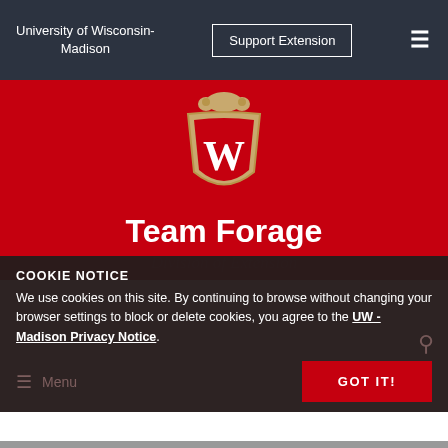University of Wisconsin-Madison
[Figure (logo): University of Wisconsin-Madison crest/shield logo with W]
Team Forage
Division of Extension
COOKIE NOTICE
We use cookies on this site. By continuing to browse without changing your browser settings to block or delete cookies, you agree to the UW - Madison Privacy Notice.
GOT IT!